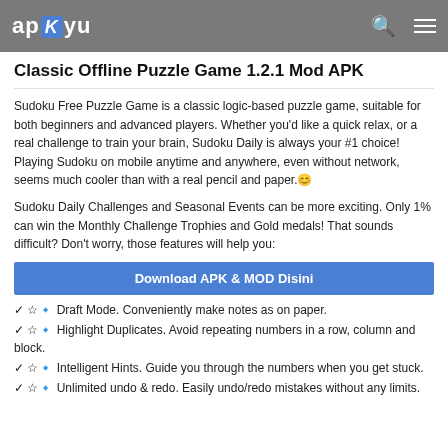apkyu
Classic Offline Puzzle Game 1.2.1 Mod APK
Sudoku Free Puzzle Game is a classic logic-based puzzle game, suitable for both beginners and advanced players. Whether you'd like a quick relax, or a real challenge to train your brain, Sudoku Daily is always your #1 choice! Playing Sudoku on mobile anytime and anywhere, even without network, seems much cooler than with a real pencil and paper. ☺
Sudoku Daily Challenges and Seasonal Events can be more exciting. Only 1% can win the Monthly Challenge Trophies and Gold medals! That sounds difficult? Don't worry, those features will help you:
Download APK & MOD Disini
✓ ☆🔹 Draft Mode. Conveniently make notes as on paper.
✓ ☆🔹 Highlight Duplicates. Avoid repeating numbers in a row, column and block.
✓ ☆🔹 Intelligent Hints. Guide you through the numbers when you get stuck.
✓ ☆🔹 Unlimited undo & redo. Easily undo/redo mistakes without any limits.